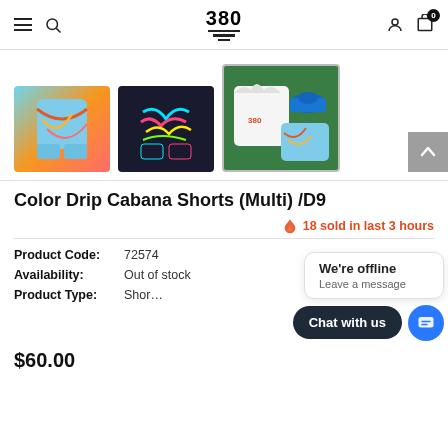380 — navigation bar with menu, search, logo, user, cart (0)
[Figure (photo): Three product thumbnail images: colorful abstract-print shorts (light blue/multicolor), darker multicolor print shorts, and a flat-lay showing a white t-shirt, blue hat, and multicolor shorts on green grass. Third image is selected/larger.]
Color Drip Cabana Shorts (Multi) /D9
18 sold in last 3 hours
| Label | Value |
| --- | --- |
| Product Code: | 72574 |
| Availability: | Out of stock |
| Product Type: | Shorts |
$60.00
We're offline
Leave a message
Chat with us